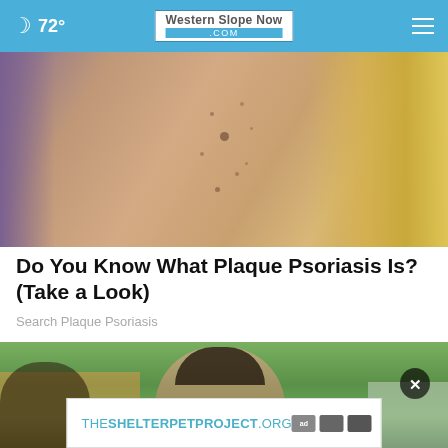72° Western Slope Now .com
[Figure (photo): Close-up photo of a person's back/shoulder area showing skin with small spots/moles; blonde hair visible on right side]
Do You Know What Plaque Psoriasis Is? (Take a Look)
Search Plaque Psoriasis
[Figure (photo): Photo of people outdoors in a neighborhood setting with trees and houses; an overlay ad banner for TheShelterpetproject.org with a close (X) button]
THESHELTERPETPROJECT.ORG